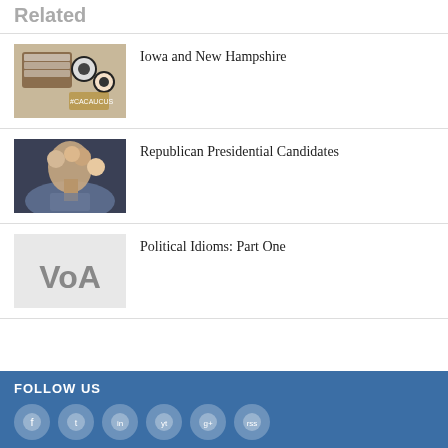Related
[Figure (photo): Campaign buttons and materials with hashtags like #CACAUCUS2016]
Iowa and New Hampshire
[Figure (photo): People holding cutout faces like a fan]
Republican Presidential Candidates
[Figure (logo): VOA logo on light gray background]
Political Idioms: Part One
FOLLOW US